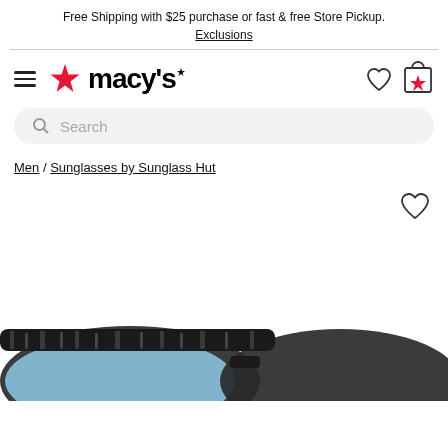Free Shipping with $25 purchase or fast & free Store Pickup. Exclusions
[Figure (logo): Macy's logo with red star and hamburger menu, plus heart and bag icons]
Search
Men / Sunglasses by Sunglass Hut
[Figure (photo): Product photo of sunglasses with blue lenses and dark frame (Oakley style), cropped, bottom portion of page]